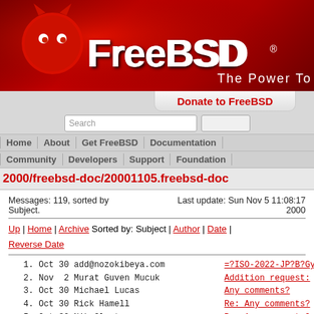[Figure (logo): FreeBSD logo and header banner with red background, BSD daemon mascot, FreeBSD text, and 'The Power To Se...' tagline]
Donate to FreeBSD
Search | navigation links: Home | About | Get FreeBSD | Documentation | Community | Developers | Support | Foundation
2000/freebsd-doc/20001105.freebsd-doc
Messages: 119, sorted by Subject.
Last update: Sun Nov 5 11:08:17 2000
Up | Home | Archive Sorted by: Subject | Author | Date | Reverse Date
1. Oct 30 add@nozokibeya.com    =?ISO-2022-JP?B?Gy...
2. Nov  2 Murat Guven Mucuk    Addition request:
3. Oct 30 Michael Lucas         Any comments?
4. Oct 30 Rick Hamell           Re: Any comments?
5. Oct 30 Nik Clayton           Re: Any comments?
6. Oct 30 Michael Lucas         Re: Any comments?
7. Oct 30 Jordan Hubbard        Re: Any comments?
8. Oct 30 Kent Stewart          Re: Any comments?